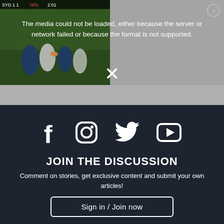[Figure (screenshot): Video player showing a rugby match scene on the left half, and a video thumbnail with title 'Matt Dufty's Top Moment of 2021' on the right half. A media error overlay reads: 'The media could not be loaded, either because the server or network failed or because the format is not supported.' A large X dismiss button is visible.]
[Figure (infographic): Social media icons row: Facebook, Instagram, Twitter, YouTube — white icons on dark navy background]
JOIN THE DISCUSSION
Comment on stories, get exclusive content and submit your own articles!
Sign in / Join now